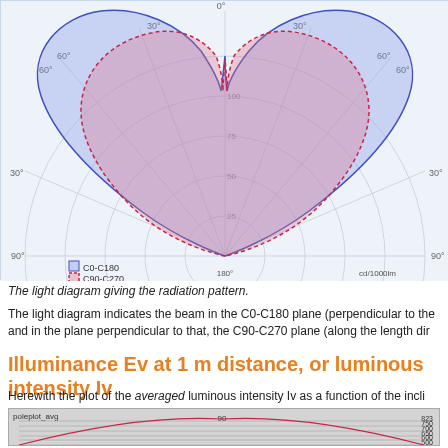[Figure (continuous-plot): Polar radiation pattern diagram showing two curves: C0-C180 (blue filled) and C90-C270 (red dashed, pink filled). The upper half polar plot shows a heart/cardioid-like beam pattern. Legend shows C0-C180 and C90-C270. Label cd/1000lm at bottom right.]
The light diagram giving the radiation pattern.
The light diagram indicates the beam in the C0-C180 plane (perpendicular to the and in the plane perpendicular to that, the C90-C270 plane (along the length dir
Illuminance Ev at 1 m distance, or luminous intensity Iv
Herewith the plot of the averaged luminous intensity Iv as a function of the incli
[Figure (continuous-plot): Second polar chart labeled 'poleplot_avg' showing averaged luminous intensity Iv. Red curve on polar grid, upper half shown. Y-axis markers: 500, 600, 650, 700, 750, 823. Top label: 90.]